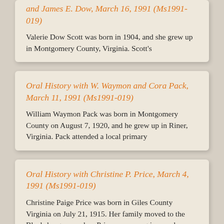and James E. Dow, March 16, 1991 (Ms1991-019)
Valerie Dow Scott was born in 1904, and she grew up in Montgomery County, Virginia. Scott's
Oral History with W. Waymon and Cora Pack, March 11, 1991 (Ms1991-019)
William Waymon Pack was born in Montgomery County on August 7, 1920, and he grew up in Riner, Virginia. Pack attended a local primary
Oral History with Christine P. Price, March 4, 1991 (Ms1991-019)
Christine Paige Price was born in Giles County Virginia on July 21, 1915. Her family moved to the Blacksburg area when Price was young in search